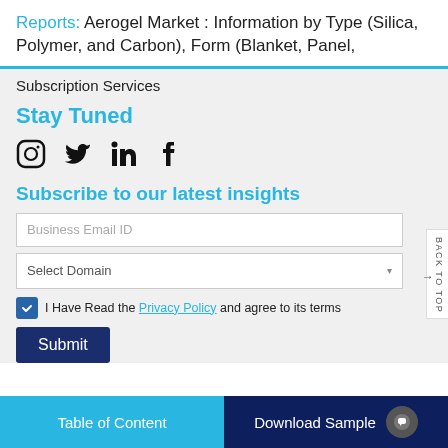Reports: Aerogel Market : Information by Type (Silica, Polymer, and Carbon), Form (Blanket, Panel,
Subscription Services
Stay Tuned
[Figure (illustration): Social media icons: Instagram, Twitter, LinkedIn, Facebook]
Subscribe to our latest insights
Business Email ID (input field placeholder)
Select Domain (dropdown)
I Have Read the Privacy Policy and agree to its terms
Submit button
Table of Content | Download Sample